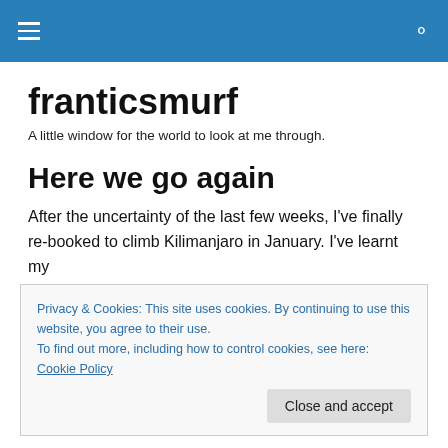franticsmurf — navigation header
franticsmurf
A little window for the world to look at me through.
Here we go again
After the uncertainty of the last few weeks, I've finally re-booked to climb Kilimanjaro in January. I've learnt my
Privacy & Cookies: This site uses cookies. By continuing to use this website, you agree to their use.
To find out more, including how to control cookies, see here: Cookie Policy